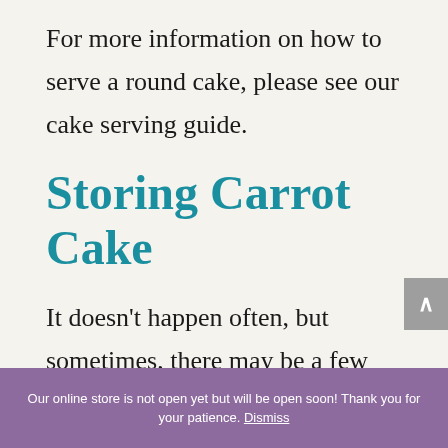For more information on how to serve a round cake, please see our cake serving guide.
Storing Carrot Cake
It doesn't happen often, but sometimes, there may be a few pieces of cake left over. And because our
Our online store is not open yet but will be open soon! Thank you for your patience. Dismiss